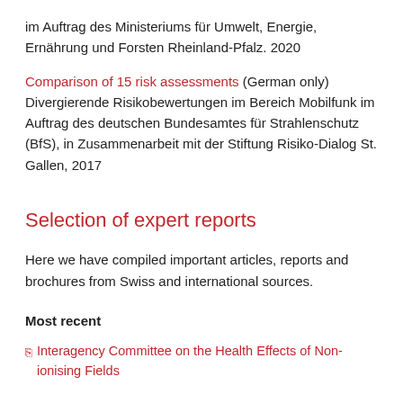im Auftrag des Ministeriums für Umwelt, Energie, Ernährung und Forsten Rheinland-Pfalz. 2020
Comparison of 15 risk assessments (German only) Divergierende Risikobewertungen im Bereich Mobilfunk im Auftrag des deutschen Bundesamtes für Strahlenschutz (BfS), in Zusammenarbeit mit der Stiftung Risiko-Dialog St. Gallen, 2017
Selection of expert reports
Here we have compiled important articles, reports and brochures from Swiss and international sources.
Most recent
Interagency Committee on the Health Effects of Non-ionising Fields